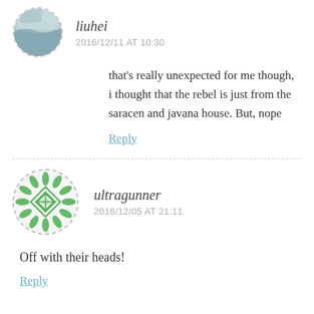[Figure (photo): Circular avatar photo of user liuhei showing a misty landscape]
liuhei
2016/12/11 AT 10:30
that's really unexpected for me though, i thought that the rebel is just from the saracen and javana house. But, nope
Reply
[Figure (illustration): Circular avatar icon for user ultragunner showing a green geometric pattern with diamond shapes and leaf motifs]
ultragunner
2016/12/05 AT 21:11
Off with their heads!
Reply